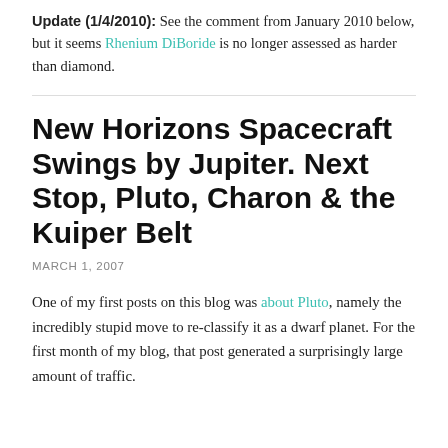Update (1/4/2010): See the comment from January 2010 below, but it seems Rhenium DiBoride is no longer assessed as harder than diamond.
New Horizons Spacecraft Swings by Jupiter. Next Stop, Pluto, Charon & the Kuiper Belt
MARCH 1, 2007
One of my first posts on this blog was about Pluto, namely the incredibly stupid move to re-classify it as a dwarf planet. For the first month of my blog, that post generated a surprisingly large amount of traffic.